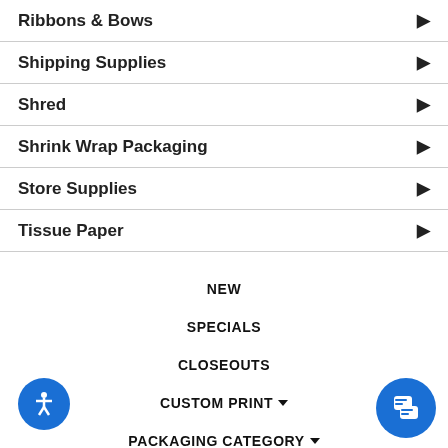Ribbons & Bows
Shipping Supplies
Shred
Shrink Wrap Packaging
Store Supplies
Tissue Paper
NEW
SPECIALS
CLOSEOUTS
CUSTOM PRINT ▼
PACKAGING CATEGORY ▼
STYLE GUIDE